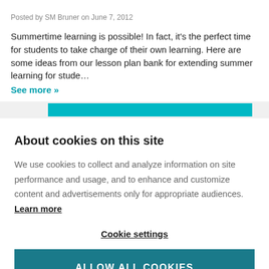Posted by SM Bruner on June 7, 2012
Summertime learning is possible! In fact, it's the perfect time for students to take charge of their own learning. Here are some ideas from our lesson plan bank for extending summer learning for stude…
See more »
About cookies on this site
We use cookies to collect and analyze information on site performance and usage, and to enhance and customize content and advertisements only for appropriate audiences. Learn more
Cookie settings
ALLOW ALL COOKIES